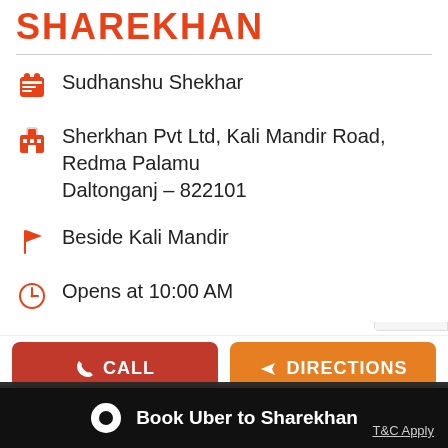SHAREKHAN
Sudhanshu Shekhar
Sherkhan Pvt Ltd, Kali Mandir Road, Redma Palamu
Daltonganj – 822101
Beside Kali Mandir
Opens at 10:00 AM
[Figure (screenshot): Android app download button (green Android robot icon)]
[Figure (screenshot): iOS App Store download button (Apple logo icon)]
CALL
DIRECTIONS
Cookie Information
On our website, we use services (including from third-party providers) that help us to improve our online presence (optimization of website) and to display content that is geared to their interests. We need your consent before being able to use these services.
LOOKING FOR A BETTER DEMAT
Sign up for a Sharekhan account
Name*   Your Name
Book Uber to Sharekhan
T&C Apply